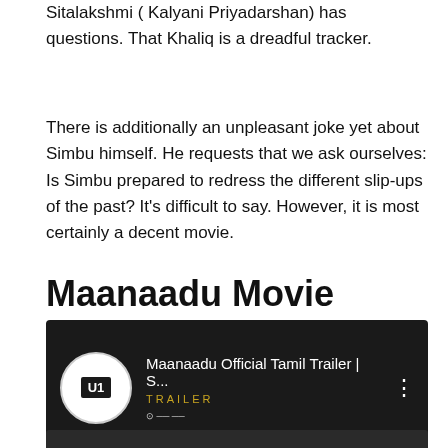Sitalakshmi ( Kalyani Priyadarshan) has questions. That Khaliq is a dreadful tracker.
There is additionally an unpleasant joke yet about Simbu himself. He requests that we ask ourselves: Is Simbu prepared to redress the different slip-ups of the past? It's difficult to say. However, it is most certainly a decent movie.
Maanaadu Movie Trailer
[Figure (screenshot): YouTube video thumbnail for 'Maanaadu Official Tamil Trailer | S...' with U1 Records logo on the left, video title text in white, 'TRAILER' text in gold/yellow, and a three-dot menu icon on the right. Dark background.]